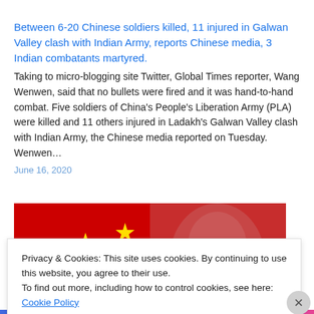Between 6-20 Chinese soldiers killed, 11 injured in Galwan Valley clash with Indian Army, reports Chinese media, 3 Indian combatants martyred.
Taking to micro-blogging site Twitter, Global Times reporter, Wang Wenwen, said that no bullets were fired and it was hand-to-hand combat. Five soldiers of China's People's Liberation Army (PLA) were killed and 11 others injured in Ladakh's Galwan Valley clash with Indian Army, the Chinese media reported on Tuesday. Wenwen…
June 16, 2020
[Figure (photo): Chinese flag (red with yellow stars) on the left half, and a blurred reddish portrait on the right half]
Privacy & Cookies: This site uses cookies. By continuing to use this website, you agree to their use.
To find out more, including how to control cookies, see here: Cookie Policy
Close and accept